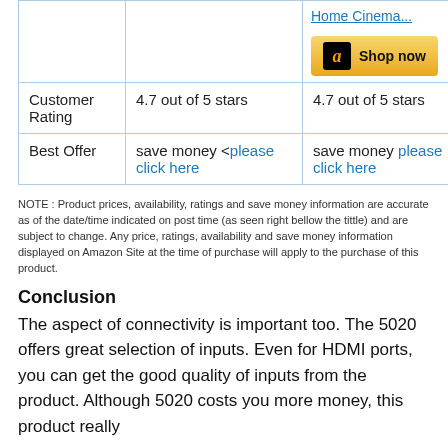|  |  |  |
| --- | --- | --- |
|  |  | Home Cinema...
[Shop now button] |
| Customer Rating | 4.7 out of 5 stars | 4.7 out of 5 stars |
| Best Offer | save money <please click here | save money please click here |
NOTE : Product prices, availability, ratings and save money information are accurate as of the date/time indicated on post time (as seen right bellow the tittle) and are subject to change. Any price, ratings, availability and save money information displayed on Amazon Site at the time of purchase will apply to the purchase of this product.
Conclusion
The aspect of connectivity is important too. The 5020 offers great selection of inputs. Even for HDMI ports, you can get the good quality of inputs from the product. Although 5020 costs you more money, this product really